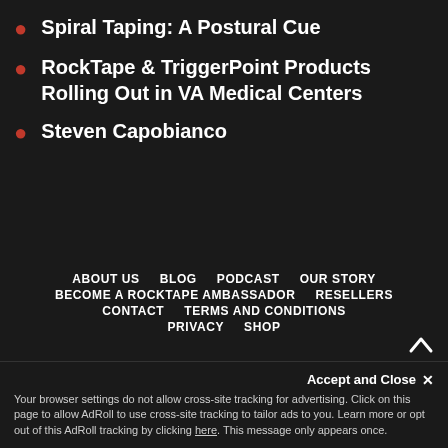Spiral Taping: A Postural Cue
RockTape & TriggerPoint Products Rolling Out in VA Medical Centers
Steven Capobianco
ABOUT US  BLOG  PODCAST  OUR STORY  BECOME A ROCKTAPE AMBASSADOR  RESELLERS  CONTACT  TERMS AND CONDITIONS  PRIVACY  SHOP
Accept and Close ✕
Your browser settings do not allow cross-site tracking for advertising. Click on this page to allow AdRoll to use cross-site tracking to tailor ads to you. Learn more or opt out of this AdRoll tracking by clicking here. This message only appears once.